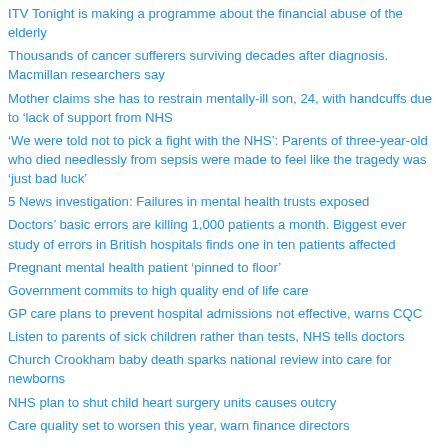ITV Tonight is making a programme about the financial abuse of the elderly
Thousands of cancer sufferers surviving decades after diagnosis. Macmillan researchers say
Mother claims she has to restrain mentally-ill son, 24, with handcuffs due to ‘lack of support from NHS
‘We were told not to pick a fight with the NHS’: Parents of three-year-old who died needlessly from sepsis were made to feel like the tragedy was ‘just bad luck’
5 News investigation: Failures in mental health trusts exposed
Doctors’ basic errors are killing 1,000 patients a month. Biggest ever study of errors in British hospitals finds one in ten patients affected
Pregnant mental health patient ‘pinned to floor’
Government commits to high quality end of life care
GP care plans to prevent hospital admissions not effective, warns CQC
Listen to parents of sick children rather than tests, NHS tells doctors
Church Crookham baby death sparks national review into care for newborns
NHS plan to shut child heart surgery units causes outcry
Care quality set to worsen this year, warn finance directors